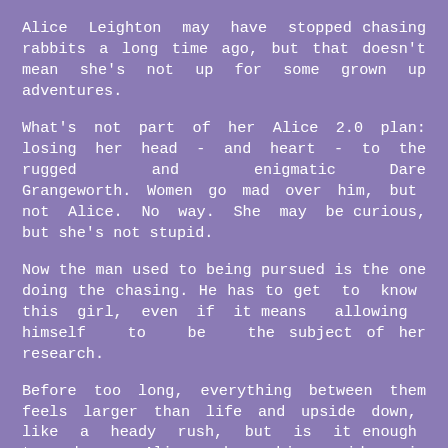Alice Leighton may have stopped chasing rabbits a long time ago, but that doesn't mean she's not up for some grown up adventures.
What's not part of her Alice 2.0 plan: losing her head - and heart - to the rugged and enigmatic Dare Grangeworth. Women go mad over him, but not Alice. No way. She may be curious, but she's not stupid.
Now the man used to being pursued is the one doing the chasing. He has to get to know this girl, even if it means allowing himself to be the subject of her research.
Before too long, everything between them feels larger than life and upside down, like a heady rush, but is it enough to keep Alice by his side in Wonderland?